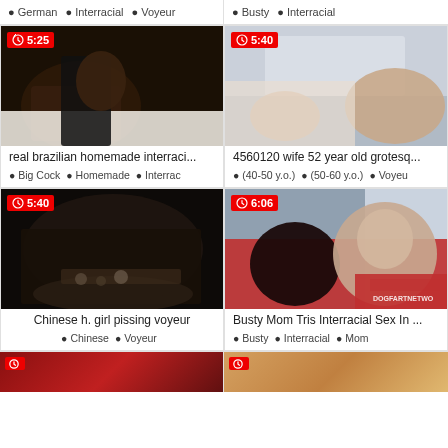● German  ● Interracial  ● Voyeur  |  ● Busty  ● Interracial
[Figure (photo): Dark thumbnail of legs in stockings on bed, duration badge 5:25]
[Figure (photo): Bedroom scene thumbnail, duration badge 5:40]
real brazilian homemade interraci...
4560120 wife 52 year old grotesq...
● Big Cock  ● Homemade  ● Interrac
● (40-50 y.o.)  ● (50-60 y.o.)  ● Voyeu
[Figure (photo): Dark voyeur thumbnail, duration badge 5:40]
[Figure (photo): Woman on red couch with man, Dogfart Network watermark, duration badge 6:06]
Chinese h. girl pissing voyeur
Busty Mom Tris Interracial Sex In ...
● Chinese  ● Voyeur
● Busty  ● Interracial  ● Mom